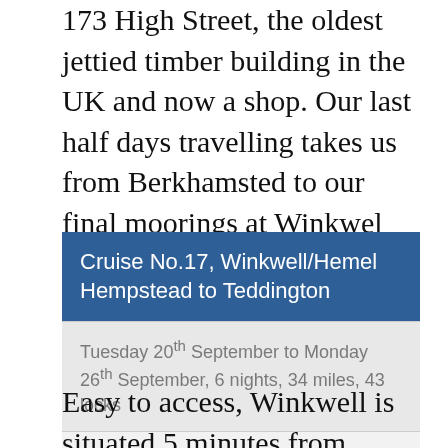173 High Street, the oldest jettied timber building in the UK and now a shop. Our last half days travelling takes us from Berkhamsted to our final moorings at Winkwel
Cruise No.17, Winkwell/Hemel Hempstead to Teddington
Tuesday 20th September to Monday 26th September, 6 nights, 34 miles, 43 locks
Grand Union Canal, Paddington Arm, Regents Canal and River Thames
Easy to access, Winkwell is situated 5 minutes from Hemel Hempstead mainline station and